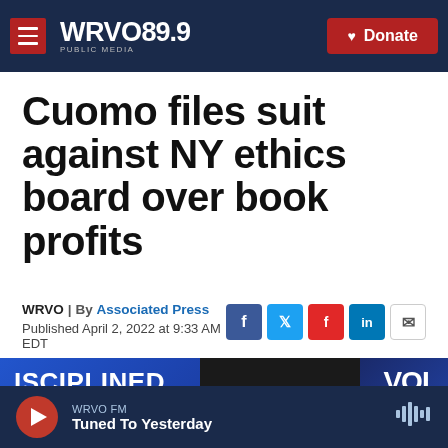WRVO PUBLIC MEDIA 89.9 | Donate
Cuomo files suit against NY ethics board over book profits
WRVO | By Associated Press
Published April 2, 2022 at 9:33 AM EDT
[Figure (photo): Photo with text overlays: 'ISCIPLINED', 'OVING' on left blue panel, dark center, 'VOL' on right with blue graphic]
WRVO FM | Tuned To Yesterday